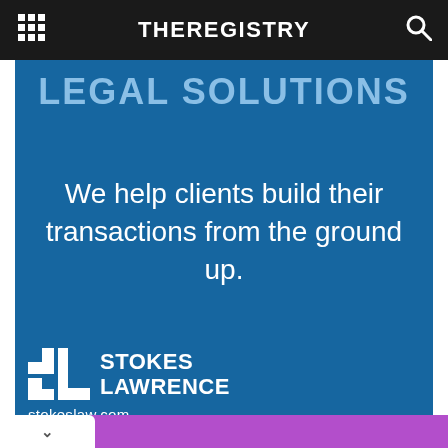THEREGISTRY
LEGAL SOLUTIONS
We help clients build their transactions from the ground up.
[Figure (logo): Stokes Lawrence law firm logo with stylized SL icon and firm name]
stokeslaw.com